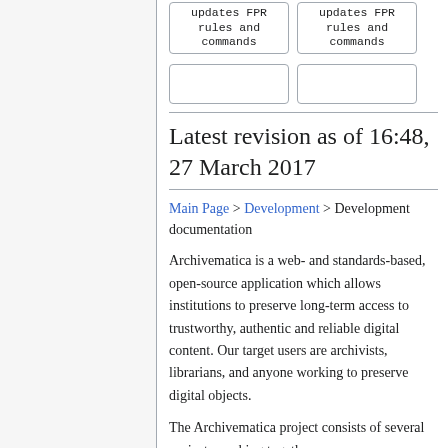[Figure (flowchart): Two flowchart boxes side by side showing code text 'updates FPR rules and commands', followed by two empty boxes below them]
Latest revision as of 16:48, 27 March 2017
Main Page > Development > Development documentation
Archivematica is a web- and standards-based, open-source application which allows institutions to preserve long-term access to trustworthy, authentic and reliable digital content. Our target users are archivists, librarians, and anyone working to preserve digital objects.
The Archivematica project consists of several projects working together: